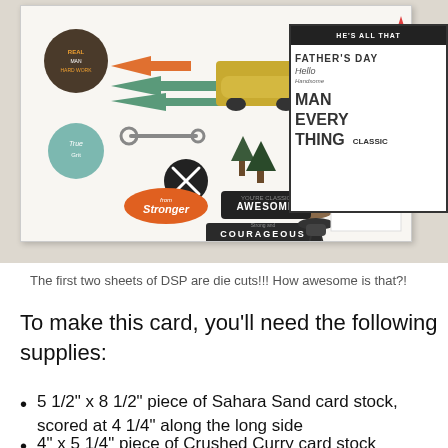[Figure (photo): Crafting supplies photo showing a sticker/die cut sheet with masculine-themed designs (tools, cars, camping, badges), a stamp set box labeled 'HE'S ALL THAT' with Father's Day stamps, and several patterned paper sheets fanned out at the bottom]
The first two sheets of DSP are die cuts!!! How awesome is that?!
To make this card, you'll need the following supplies:
5 1/2" x 8 1/2" piece of Sahara Sand card stock, scored at 4 1/4" along the long side
4" x 5 1/4" piece of Crushed Curry card stock